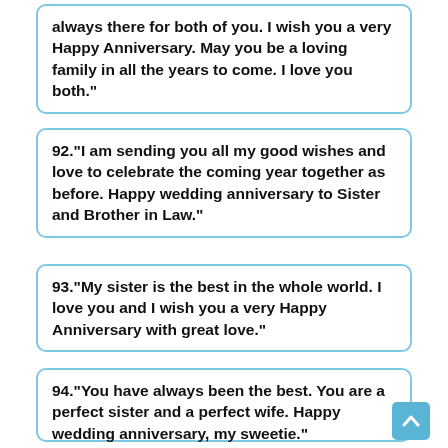always there for both of you. I wish you a very Happy Anniversary. May you be a loving family in all the years to come. I love you both."
92."I am sending you all my good wishes and love to celebrate the coming year together as before. Happy wedding anniversary to Sister and Brother in Law."
93."My sister is the best in the whole world. I love you and I wish you a very Happy Anniversary with great love."
94."You have always been the best. You are a perfect sister and a perfect wife. Happy wedding anniversary, my sweetie."